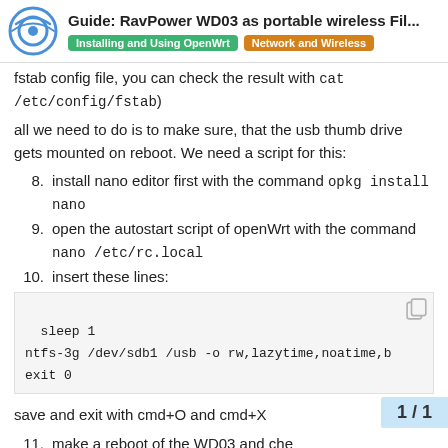Guide: RavPower WD03 as portable wireless Fil... | Installing and Using OpenWrt | Network and Wireless
fstab config file, you can check the result with cat /etc/config/fstab)
all we need to do is to make sure, that the usb thumb drive gets mounted on reboot. We need a script for this:
8. install nano editor first with the command opkg install nano
9. open the autostart script of openWrt with the command nano /etc/rc.local
10. insert these lines:
sleep 1
ntfs-3g /dev/sdb1 /usb -o rw,lazytime,noatime,b
exit 0
save and exit with cmd+O and cmd+X
11. make a reboot of the WD03 and che...